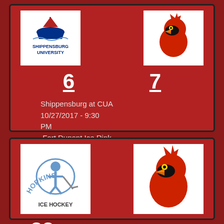[Figure (logo): Shippensburg University logo with ship and text]
[Figure (logo): CUA Cardinals red cardinal bird logo]
6
7
Shippensburg at CUA
10/27/2017 - 9:30 PM
Fort Dupont Ice Rink
[Figure (logo): Hopkins Ice Hockey logo with player and text]
[Figure (logo): CUA Cardinals red cardinal bird logo]
22
John Hopkins at CUA